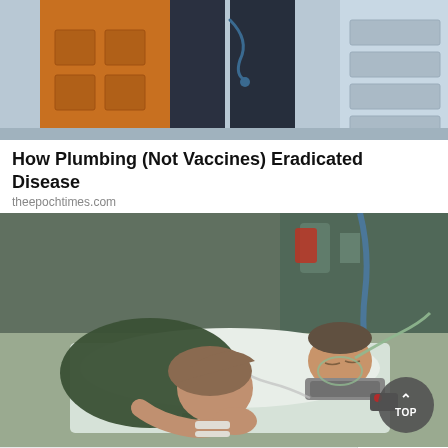[Figure (photo): Partial view of a person in orange vest/medical worker uniform standing near medical equipment, cropped at torso level]
How Plumbing (Not Vaccines) Eradicated Disease
theepochtimes.com
[Figure (photo): A woman with her head resting on a hospital bed next to a patient with a neck brace, oxygen mask and medical tubes, in an ICU-style setting]
Share
Comments
Privacy · Terms